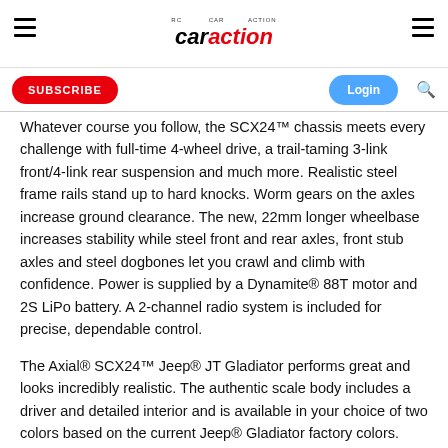RC Car Action — caraction.com
Whatever course you follow, the SCX24™ chassis meets every challenge with full-time 4-wheel drive, a trail-taming 3-link front/4-link rear suspension and much more. Realistic steel frame rails stand up to hard knocks. Worm gears on the axles increase ground clearance. The new, 22mm longer wheelbase increases stability while steel front and rear axles, front stub axles and steel dogbones let you crawl and climb with confidence. Power is supplied by a Dynamite® 88T motor and 2S LiPo battery. A 2-channel radio system is included for precise, dependable control.
The Axial® SCX24™ Jeep® JT Gladiator performs great and looks incredibly realistic. The authentic scale body includes a driver and detailed interior and is available in your choice of two colors based on the current Jeep® Gladiator factory colors. Scale Tuff Stuff Overland